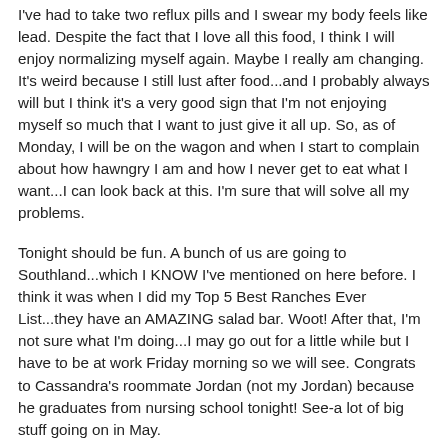I've had to take two reflux pills and I swear my body feels like lead. Despite the fact that I love all this food, I think I will enjoy normalizing myself again. Maybe I really am changing. It's weird because I still lust after food...and I probably always will but I think it's a very good sign that I'm not enjoying myself so much that I want to just give it all up. So, as of Monday, I will be on the wagon and when I start to complain about how hawngry I am and how I never get to eat what I want...I can look back at this. I'm sure that will solve all my problems.
Tonight should be fun. A bunch of us are going to Southland...which I KNOW I've mentioned on here before. I think it was when I did my Top 5 Best Ranches Ever List...they have an AMAZING salad bar. Woot! After that, I'm not sure what I'm doing...I may go out for a little while but I have to be at work Friday morning so we will see. Congrats to Cassandra's roommate Jordan (not my Jordan) because he graduates from nursing school tonight! See-a lot of big stuff going on in May.
I hope you all enjoy your night and I will talk to you